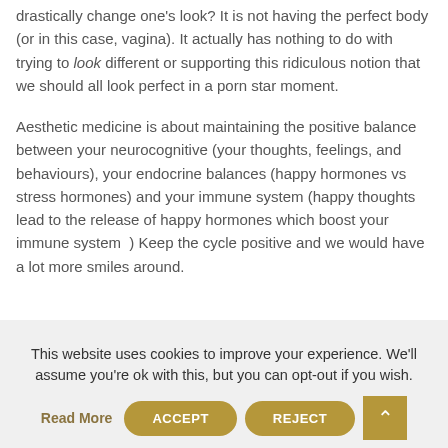drastically change one's look? It is not having the perfect body (or in this case, vagina). It actually has nothing to do with trying to look different or supporting this ridiculous notion that we should all look perfect in a porn star moment.
Aesthetic medicine is about maintaining the positive balance between your neurocognitive (your thoughts, feelings, and behaviours), your endocrine balances (happy hormones vs stress hormones) and your immune system (happy thoughts lead to the release of happy hormones which boost your immune system  ) Keep the cycle positive and we would have a lot more smiles around.
This website uses cookies to improve your experience. We'll assume you're ok with this, but you can opt-out if you wish.